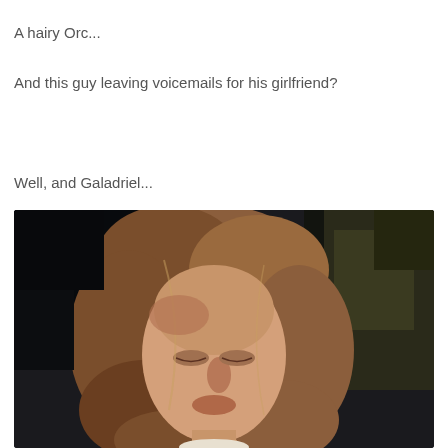A hairy Orc...
And this guy leaving voicemails for his girlfriend?
Well, and Galadriel...
[Figure (photo): Close-up photo of a young woman with long wavy auburn/blonde hair, looking downward, set against a dark rocky background. Appears to be a movie still of Galadriel from Lord of the Rings.]